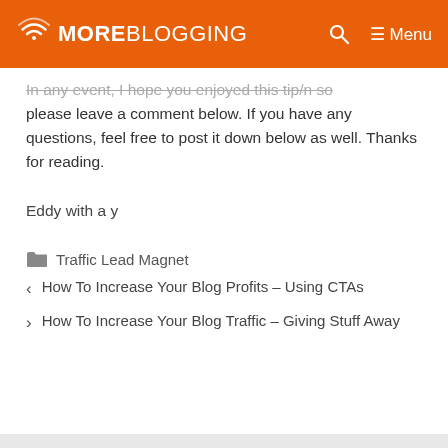MOREBLOGGING  🔍  ≡ Menu
In any event, I hope you enjoyed this tip/n so please leave a comment below. If you have any questions, feel free to post it down below as well. Thanks for reading.
Eddy with a y
🗂 Traffic Lead Magnet
< How To Increase Your Blog Profits – Using CTAs
> How To Increase Your Blog Traffic – Giving Stuff Away